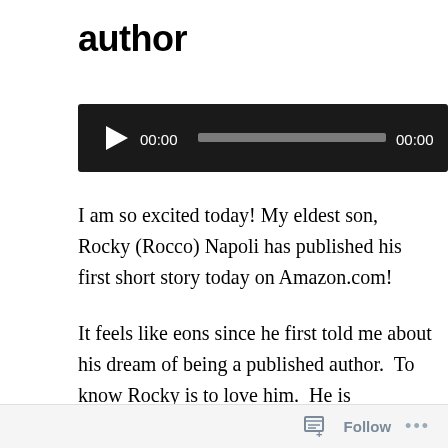author
[Figure (other): Audio player widget with black background, play button, 00:00 timestamps, and grey progress bar]
I am so excited today! My eldest son, Rocky (Rocco) Napoli has published his first short story today on Amazon.com!
It feels like eons since he first told me about his dream of being a published author.  To know Rocky is to love him.  He is intelligent, charismatic and possesses a way with words that can transcend your imagination.  Sure, people
Follow ...